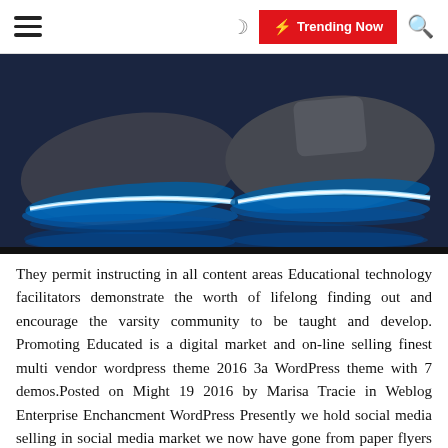Trending Now
[Figure (photo): Two sneakers with glowing blue LED light-up soles against a dark blue background]
They permit instructing in all content areas Educational technology facilitators demonstrate the worth of lifelong finding out and encourage the varsity community to be taught and develop. Promoting Educated is a digital market and on-line selling finest multi vendor wordpress theme 2016 3a WordPress theme with 7 demos.Posted on Might 19 2016 by Marisa Tracie in Weblog Enterprise Enchancment WordPress Presently we hold social media selling in social media market we now have gone from paper flyers to on-line adverts and contained throughout